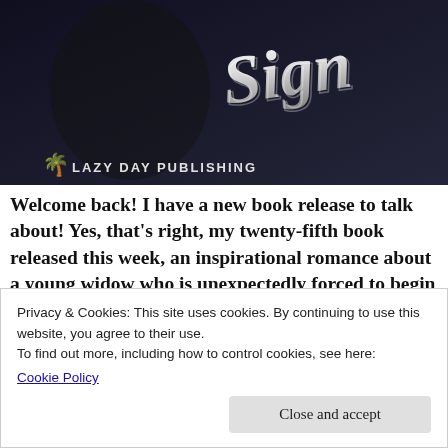[Figure (illustration): Book cover image for 'Rebecca's Sign' published by Lazy Day Publishing. Dark background with stylized script title text and publisher logo with palm tree icon.]
Welcome back! I have a new book release to talk about! Yes, that's right, my twenty-fifth book released this week, an inspirational romance about a young widow who is unexpectedly forced to begin a new life with her two young children. Rebecca's Sign was released earlier this week by LazyDay Publishing and I'm going to share the blurb and an excerpt with you tonight.
Privacy & Cookies: This site uses cookies. By continuing to use this website, you agree to their use.
To find out more, including how to control cookies, see here:
Cookie Policy